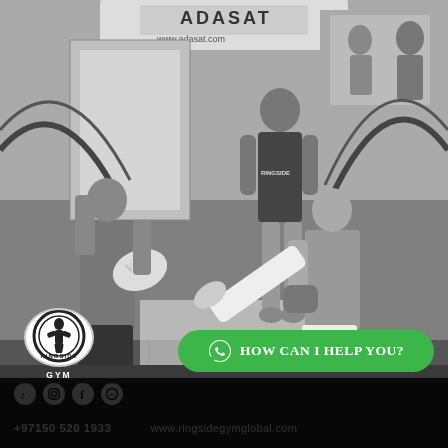[Figure (photo): Black and white photo of two young fighters sparring with boxing gloves in an MMA gym. One fighter is executing a high kick while the other defends. A trainer in a 'Ringside' tank top watches in the background. MMA cage fencing and motivational posters visible in the background. ADASAT logo visible on signage.]
[Figure (logo): Ringside Gym circular logo with a fighter silhouette and 'RINGSIDE GYM' text]
How can I help you?
+97150 520 1933
www.ringsidegymglobal.com